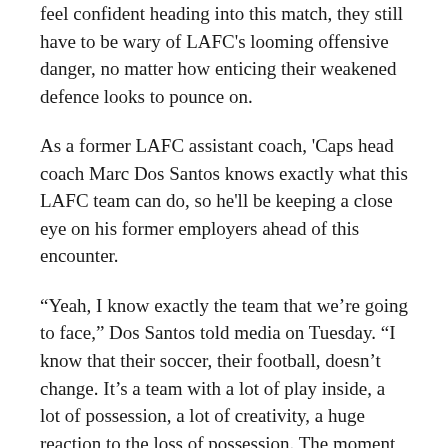feel confident heading into this match, they still have to be wary of LAFC's looming offensive danger, no matter how enticing their weakened defence looks to pounce on.
As a former LAFC assistant coach, 'Caps head coach Marc Dos Santos knows exactly what this LAFC team can do, so he'll be keeping a close eye on his former employers ahead of this encounter.
“Yeah, I know exactly the team that we’re going to face,” Dos Santos told media on Tuesday. “I know that their soccer, their football, doesn’t change. It’s a team with a lot of play inside, a lot of possession, a lot of creativity, a huge reaction to the loss of possession. The moment where they counter-press and they lose the ball, that’s all going to be there. And I have huge respect for what they’re about, for what they do, for the talent they have in the roster. And again, in soccer, the only thing that